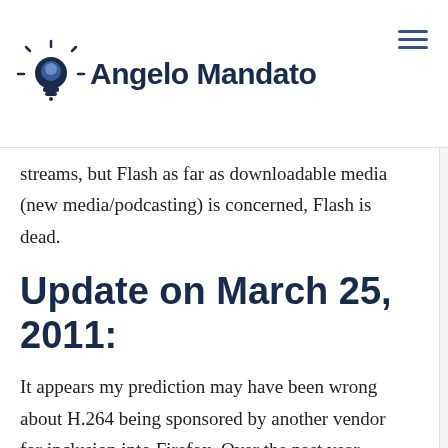Angelo Mandato
streams, but Flash as far as downloadable media (new media/podcasting) is concerned, Flash is dead.
Update on March 25, 2011:
It appears my prediction may have been wrong about H.264 being sponsored by another vendor for inclusion into Firefox. Over the past year, Google has acquired On2 Technologies (OGG Video) and has launched a new project called WebM which is completely royalty free. This is a game changer